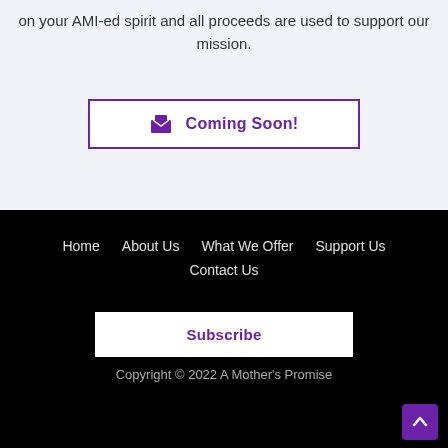on your AMI-ed spirit and all proceeds are used to support our mission.
Coming Soon!
Home   About Us   What We Offer   Support Us   Contact Us
Subscribe
Copyright © 2022 A Mother's Promise